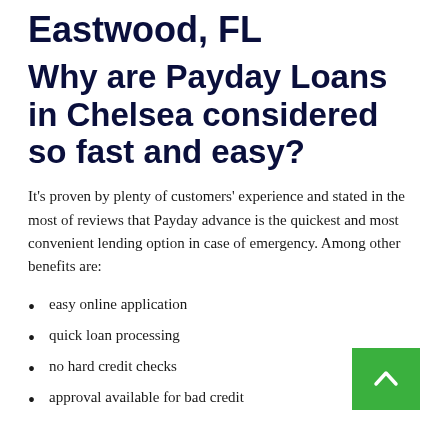Eastwood, FL
Why are Payday Loans in Chelsea considered so fast and easy?
It's proven by plenty of customers' experience and stated in the most of reviews that Payday advance is the quickest and most convenient lending option in case of emergency. Among other benefits are:
easy online application
quick loan processing
no hard credit checks
approval available for bad credit